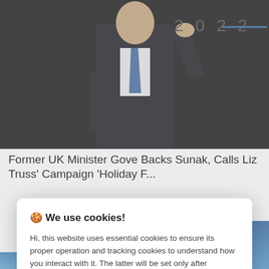[Figure (photo): A man in a dark suit and blue tie raising his hand, with a banner showing '2022' and a blue line in the background.]
Former UK Minister Gove Backs Sunak, Calls Liz Truss' Campaign 'Holiday F...
🍪 We use cookies!

Hi, this website uses essential cookies to ensure its proper operation and tracking cookies to understand how you interact with it. The latter will be set only after consent. Let me choose

Accept all

Reject all